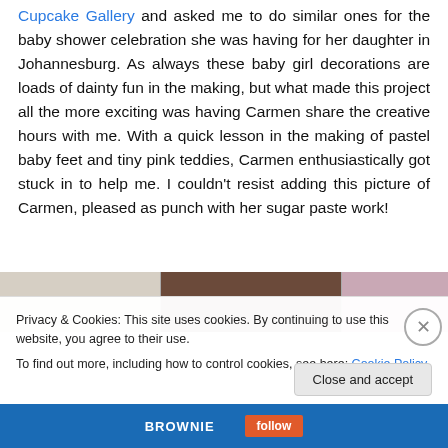Cupcake Gallery and asked me to do similar ones for the baby shower celebration she was having for her daughter in Johannesburg. As always these baby girl decorations are loads of dainty fun in the making, but what made this project all the more exciting was having Carmen share the creative hours with me. With a quick lesson in the making of pastel baby feet and tiny pink teddies, Carmen enthusiastically got stuck in to help me. I couldn't resist adding this picture of Carmen, pleased as punch with her sugar paste work!
[Figure (photo): Partial photo strip showing baked goods / cupcake decorations, partially obscured by cookie banner]
Privacy & Cookies: This site uses cookies. By continuing to use this website, you agree to their use.
To find out more, including how to control cookies, see here: Cookie Policy
Close and accept